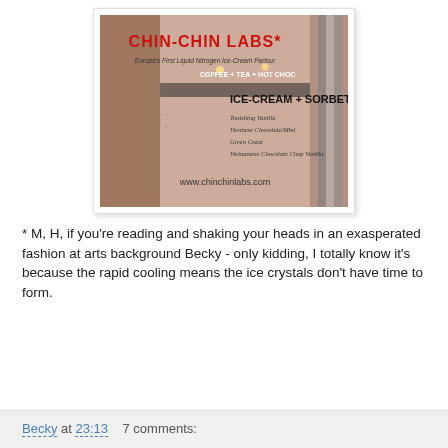[Figure (photo): Photo of a Chin-Chin Labs menu/sign board showing 'CHIN-CHIN LABS*', 'Europe's First Liquid Nitrogen Ice-Cream Parlour', 'COFFEE + TEA + HOT CHOC', 'ICE-CREAM + SORBET', and website www.chinchinlabs.com]
* M, H, if you're reading and shaking your heads in an exasperated fashion at arts background Becky - only kidding, I totally know it's because the rapid cooling means the ice crystals don't have time to form.
Becky at 23:13    7 comments: